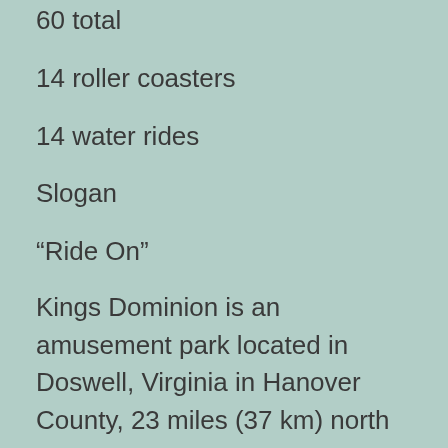60 total
14 roller coasters
14 water rides
Slogan
“Ride On”
Kings Dominion is an amusement park located in Doswell, Virginia in Hanover County, 23 miles (37 km) north of Richmond and 83 miles (134 km) south of Washington, DC on Interstate 95.